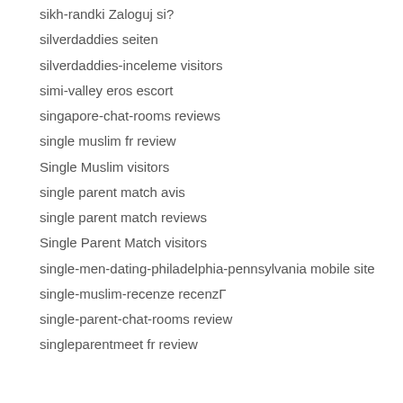sikh-randki Zaloguj si?
silverdaddies seiten
silverdaddies-inceleme visitors
simi-valley eros escort
singapore-chat-rooms reviews
single muslim fr review
Single Muslim visitors
single parent match avis
single parent match reviews
Single Parent Match visitors
single-men-dating-philadelphia-pennsylvania mobile site
single-muslim-recenze recenzГ
single-parent-chat-rooms review
singleparentmeet fr review